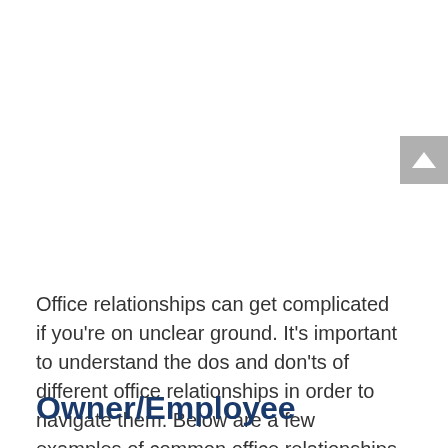[Figure (other): Share widget on the right side with 'SHARE' label and a blue 'V' button, and a grey scroll-to-top arrow button below]
Office relationships can get complicated if you're on unclear ground. It's important to understand the dos and don'ts of different office relationships in order to navigate them. Below are a few examples of common office relationships and the typical boundaries in each one.
Owner/Employee